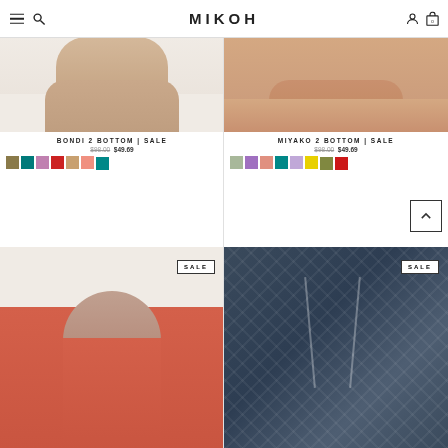MIKOH
[Figure (photo): Bikini bottom product photo - Bondi 2 Bottom on model, cropped torso view]
BONDI 2 BOTTOM | SALE
$98.00  $49.69
[Figure (photo): Color swatches for Bondi 2 Bottom: olive, teal, mauve, red, tan, salmon, teal]
[Figure (photo): Bikini bottom product photo - Miyako 2 Bottom on model, cropped torso view]
MIYAKO 2 BOTTOM | SALE
$98.00  $49.69
[Figure (photo): Color swatches for Miyako 2 Bottom: sage, purple, peach, teal, lilac, yellow, olive, red]
[Figure (photo): Bikini top product photo on model, red/coral top, SALE badge]
[Figure (photo): Bikini back product photo showing straps, navy print fabric, SALE badge]